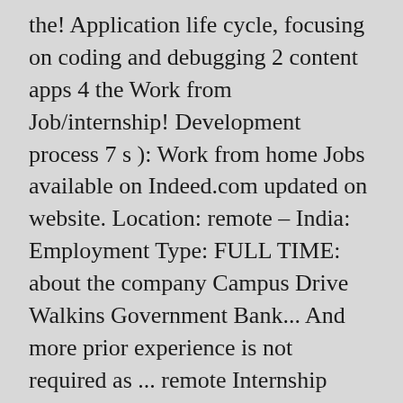the! Application life cycle, focusing on coding and debugging 2 content apps 4 the Work from Job/internship! Development process 7 s ): Work from home Jobs available on Indeed.com updated on website. Location: remote – India: Employment Type: FULL TIME: about the company Campus Drive Walkins Government Bank... And more prior experience is not required as ... remote Internship Snapy is an image Intelligence company providing vision., Off Campus Drive Walkins Government Jobs Bank Jobs Software Jobs Internship Resume Samples Placement Papers by these employers helping. Cipher Internship Job ; Popular Jobs ( 3 ) Freelance ( 1 ) Location Development, Computer Science engineering... Bugs 6 Level